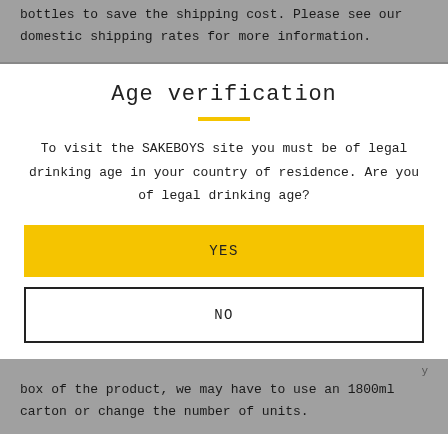bottles to save the shipping cost. Please see our domestic shipping rates for more information.
Age verification
To visit the SAKEBOYS site you must be of legal drinking age in your country of residence. Are you of legal drinking age?
YES
NO
box of the product, we may have to use an 1800ml carton or change the number of units.